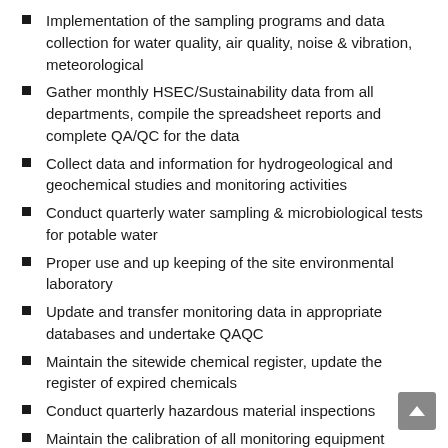Implementation of the sampling programs and data collection for water quality, air quality, noise & vibration, meteorological
Gather monthly HSEC/Sustainability data from all departments, compile the spreadsheet reports and complete QA/QC for the data
Collect data and information for hydrogeological and geochemical studies and monitoring activities
Conduct quarterly water sampling & microbiological tests for potable water
Proper use and up keeping of the site environmental laboratory
Update and transfer monitoring data in appropriate databases and undertake QAQC
Maintain the sitewide chemical register, update the register of expired chemicals
Conduct quarterly hazardous material inspections
Maintain the calibration of all monitoring equipment